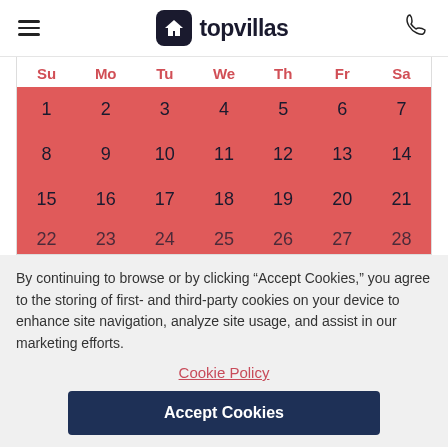topvillas
[Figure (screenshot): Monthly calendar with days 1-28 visible highlighted in coral/red color. Day headers: Su Mo Tu We Th Fr Sa. Rows show dates 1-7, 8-14, 15-21, 22-28.]
By continuing to browse or by clicking “Accept Cookies,” you agree to the storing of first- and third-party cookies on your device to enhance site navigation, analyze site usage, and assist in our marketing efforts.
Cookie Policy
Accept Cookies